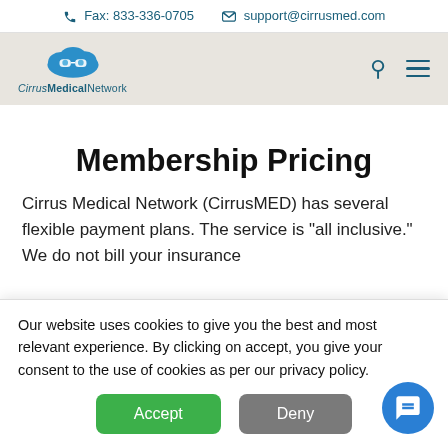Fax: 833-336-0705   support@cirrusmed.com
[Figure (logo): Cirrus Medical Network logo with cloud icon]
Membership Pricing
Cirrus Medical Network (CirrusMED) has several flexible payment plans. The service is
Our website uses cookies to give you the best and most relevant experience. By clicking on accept, you give your consent to the use of cookies as per our privacy policy.